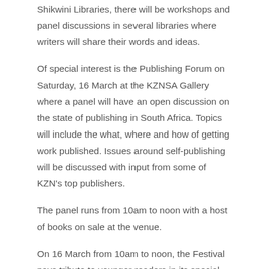Shikwini Libraries, there will be workshops and panel discussions in several libraries where writers will share their words and ideas.
Of special interest is the Publishing Forum on Saturday, 16 March at the KZNSA Gallery where a panel will have an open discussion on the state of publishing in South Africa. Topics will include the what, where and how of getting work published. Issues around self-publishing will be discussed with input from some of KZN's top publishers.
The panel runs from 10am to noon with a host of books on sale at the venue.
On 16 March from 10am to noon, the Festival pays tribute to younger readers in its special gathering at the KZNSA Gallery. This session will offer African storytelling and the reading of South African tales written for a younger